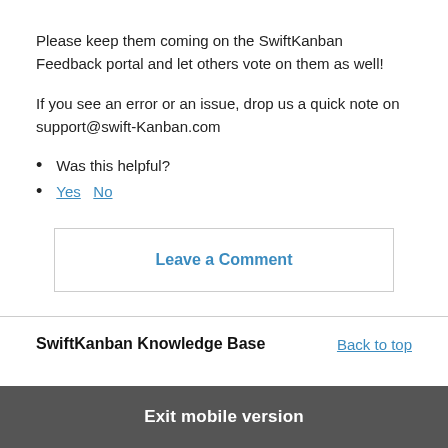Please keep them coming on the SwiftKanban Feedback portal and let others vote on them as well!
If you see an error or an issue, drop us a quick note on support@swift-Kanban.com
Was this helpful?
Yes   No
Leave a Comment
SwiftKanban Knowledge Base
Back to top
Exit mobile version